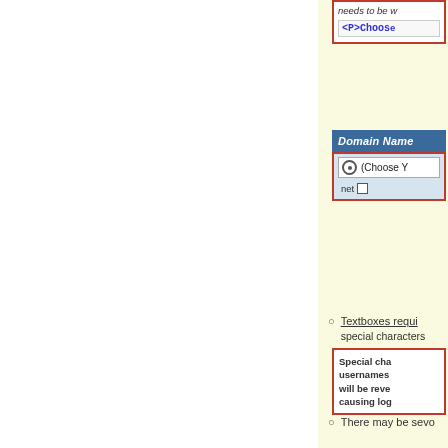[Figure (screenshot): A UI box with red border showing code snippet: <P>Choose with italic text above it]
[Figure (screenshot): A domain name selection widget with blue header 'Domain Name', radio button row '(Choose Y...', and a 'net' checkbox row, bordered in red]
Textboxes requi... special characters...
[Figure (screenshot): Warning box with red border: Special cha... usernames... will be reve... causing log...]
There may be seve...